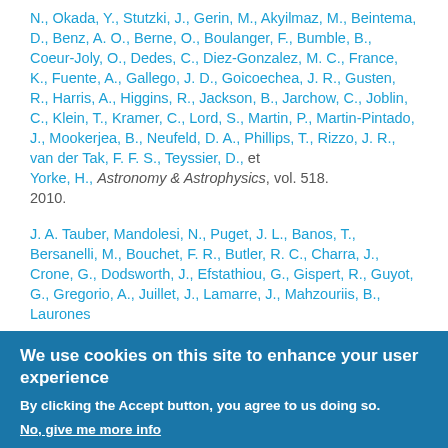N., Okada, Y., Stutzki, J., Gerin, M., Akyilmaz, M., Beintema, D., Benz, A. O., Berne, O., Boulanger, F., Bumble, B., Coeur-Joly, O., Dedes, C., Diez-Gonzalez, M. C., France, K., Fuente, A., Gallego, J. D., Goicoechea, J. R., Gusten, R., Harris, A., Higgins, R., Jackson, B., Jarchow, C., Joblin, C., Klein, T., Kramer, C., Lord, S., Martin, P., Martin-Pintado, J., Mookerjea, B., Neufeld, D. A., Phillips, T., Rizzo, J. R., van der Tak, F. F. S., Teyssier, D., et Yorke, H., Astronomy & Astrophysics, vol. 518. 2010.
J. A. Tauber, Mandolesi, N., Puget, J. L., Banos, T., Bersanelli, M., Bouchet, F. R., Butler, R. C., Charra, J., Crone, G., Dodsworth, J., Efstathiou, G., Gispert, R., Guyot, G., Gregorio, A., Juillet, J., Lamarre, J., Mahzouriis, B., Laurones...
We use cookies on this site to enhance your user experience
By clicking the Accept button, you agree to us doing so.
No, give me more info